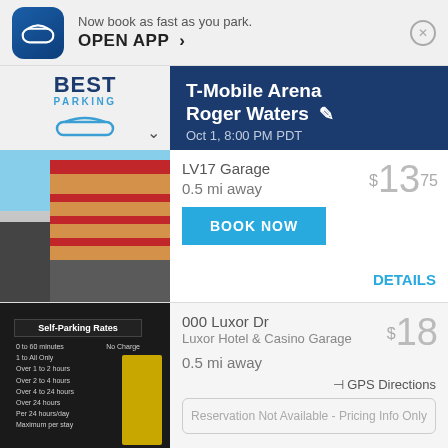Now book as fast as you park. OPEN APP >
T-Mobile Arena Roger Waters Oct 1, 8:00 PM PDT
LV17 Garage
0.5 mi away
$13.75
000 Luxor Dr
Luxor Hotel & Casino Garage
0.5 mi away
$18
Reservation Not Available - Pricing Info Only
1 W Bellagio Dr
Bellagio Hotel & Casino
0.6 mi away
$18